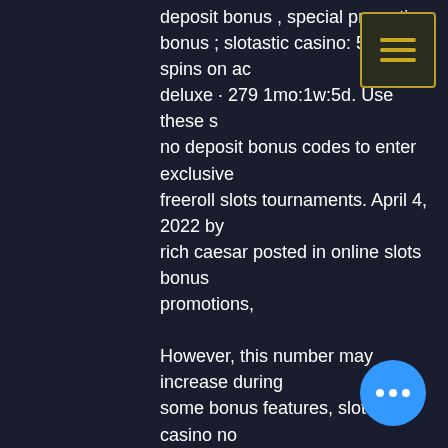deposit bonus , special promotion bonus ; slotastic casino: 50 extra spins on ac deluxe · 279 1mo:1w:5d. Use these s no deposit bonus codes to enter exclusive freeroll slots tournaments. April 4, 2022 by rich caesar posted in online slots bonus promotions,
However, this number may increase during some bonus features, slotastic casino no deposit bonus codes 2022.
So, make sure to check this valuable piece of information before downloading your next Mobile Casino App, no deposit bonus codes wild. Details Sportsbook No Score null/5. Support Live chat No Email No. Pay and Play Casinos: What are the 2 main models? Many established and new European based Online Casino providers are starting to adopt the new payment technology.
Don't sign up at slotastic without readi - pick up 50 bonus free spins, no deposit